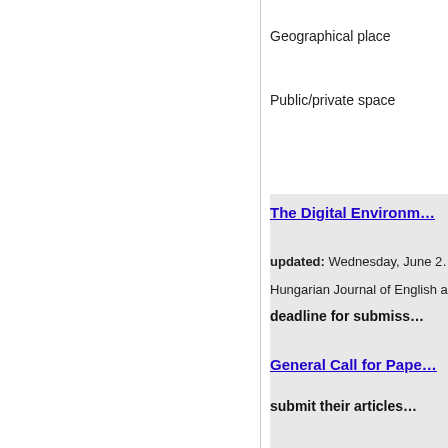Geographical place
Public/private space
The Digital Environm…
updated: Wednesday, June 2…
Hungarian Journal of English a…
deadline for submiss…
General Call for Pape…
submit their articles…